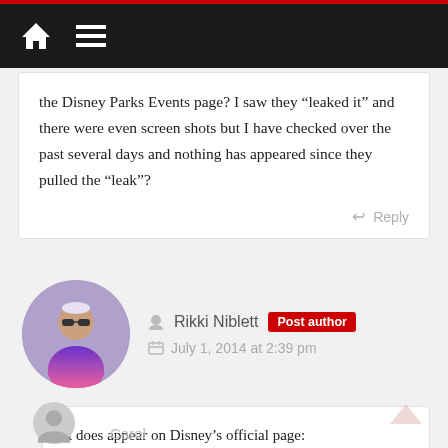Navigation bar with home and menu icons
the Disney Parks Events page? I saw they “leaked it” and there were even screen shots but I have checked over the past several days and nothing has appeared since they pulled the “leak”?
Reply
Rikki Niblett  Post author
July 1, 2014 at 2:39 pm
It does appear on Disney’s official page:
https://disneyworld.disney.go.com/events-tours/hollywood-studios/frozen-summer-celebration/
Reply
Carol